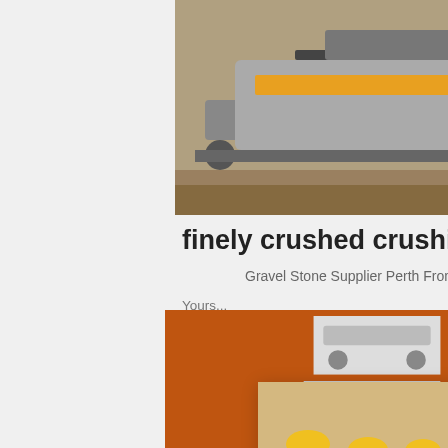[Figure (photo): Mobile rock crushing machinery on a construction/quarry site with conveyor belt and tracks]
finely crushed crushing gravel,
Gravel Stone Supplier Perth From $60 /m
Yourself... Decor... locally... Metal... as the... provid... still able to be easily ...
Read More
[Figure (photo): Large yellow excavator with crushing machinery at a quarry site]
[Figure (infographic): Orange sidebar with machinery images, Live Chat overlay with workers, chat buttons, discount offer, enquiry and contact information]
Enjoy 3% discount
Click to Chat
Enquiry
limingjlmofen
@sina.com